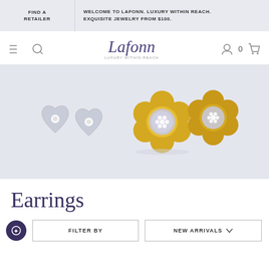FIND A RETAILER
WELCOME TO LAFONN. LUXURY WITHIN REACH. EXQUISITE JEWELRY FROM $100.
[Figure (logo): Lafonn brand logo with italic serif font in purple, tagline 'LUXURY WITHIN REACH' below]
[Figure (photo): Jewelry earrings display on light gray background: two heart-shaped diamond stud earrings (silver), two large gold flower-shaped earrings with diamond centers, and two round blue gemstone earrings with diamond halo (silver)]
Earrings
FILTER BY
NEW ARRIVALS